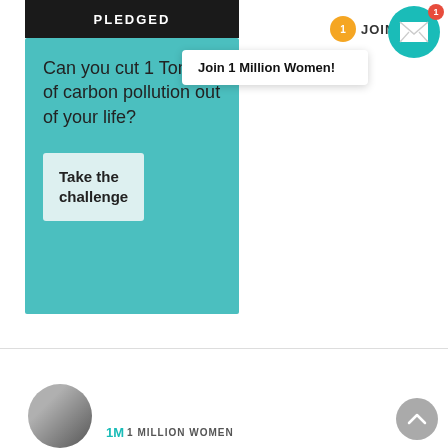PLEDGED
Join 1 Million Women!
JOIN
Can you cut 1 Tonne of carbon pollution out of your life?
Take the challenge
[Figure (screenshot): Scroll-to-top circular grey button with upward chevron arrow]
[Figure (photo): Circular avatar photo of a person, partially visible at bottom left]
1 MILLION WOMEN